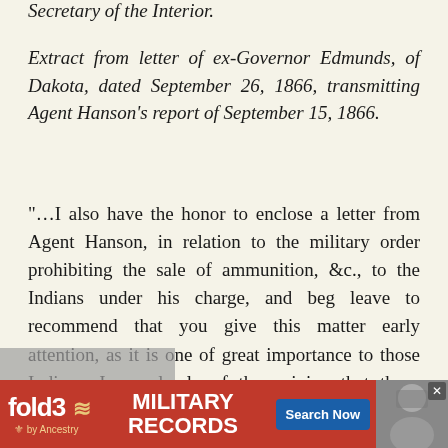Secretary of the Interior.
Extract from letter of ex-Governor Edmunds, of Dakota, dated September 26, 1866, transmitting Agent Hanson's report of September 15, 1866.
"…I also have the honor to enclose a letter from Agent Hanson, in relation to the military order prohibiting the sale of ammunition, &c., to the Indians under his charge, and beg leave to recommend that you give this matter early attention, as it is one of great importance to those Indians. I am clearly of the opinion that those Indians ought not to be included as among those to whom arms and ammunition are prohibited, and am fearful that it will have a tendency to complicate and embarrass their mana
[Figure (other): fold3 by Ancestry advertisement banner for Military Records with Search Now button and photo of soldier]